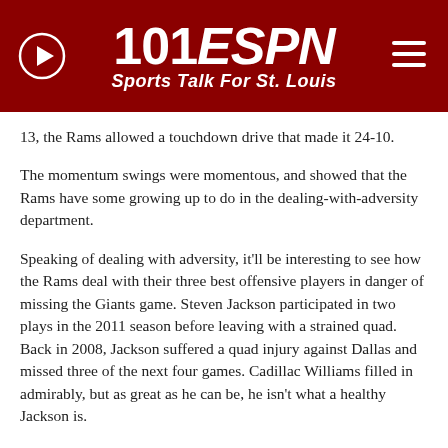101 ESPN Sports Talk For St. Louis
13, the Rams allowed a touchdown drive that made it 24-10.
The momentum swings were momentous, and showed that the Rams have some growing up to do in the dealing-with-adversity department.
Speaking of dealing with adversity, it'll be interesting to see how the Rams deal with their three best offensive players in danger of missing the Giants game. Steven Jackson participated in two plays in the 2011 season before leaving with a strained quad. Back in 2008, Jackson suffered a quad injury against Dallas and missed three of the next four games. Cadillac Williams filled in admirably, but as great as he can be, he isn't what a healthy Jackson is.